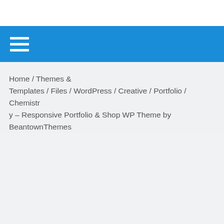[Figure (screenshot): White top bar area of a webpage]
Hamburger menu icon (three horizontal white lines) on a blue navigation bar
Home / Themes & Templates / Files / WordPress / Creative / Portfolio / Chemistry – Responsive Portfolio & Shop WP Theme by BeantownThemes